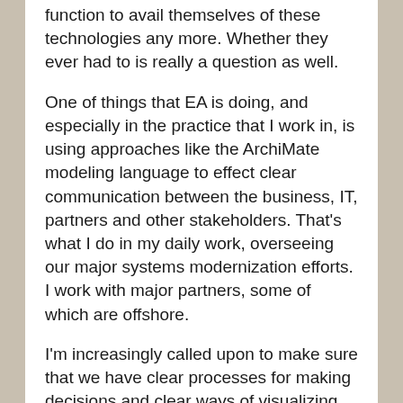function to avail themselves of these technologies any more. Whether they ever had to is really a question as well.
One of things that EA is doing, and especially in the practice that I work in, is using approaches like the ArchiMate modeling language to effect clear communication between the business, IT, partners and other stakeholders. That's what I do in my daily work, overseeing our major systems modernization efforts. I work with major partners, some of which are offshore.
I'm increasingly called upon to make sure that we have clear processes for making decisions and clear ways of visualizing the different choices in front of us. We can't always unilaterally dictate